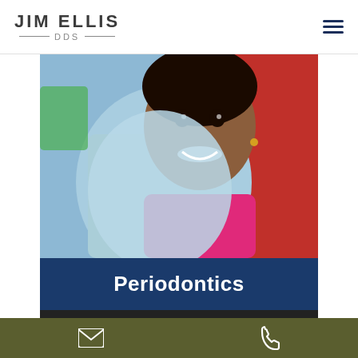JIM ELLIS DDS
[Figure (photo): A smiling young girl at the dentist, wearing a light blue dental bib, seated in a red dental chair. She is wearing a bright pink shirt.]
Periodontics
A Periodontist is someone that deals with the gums. Most people don't know this, but there are actually several dental specialties. Most
Email and Phone contact icons